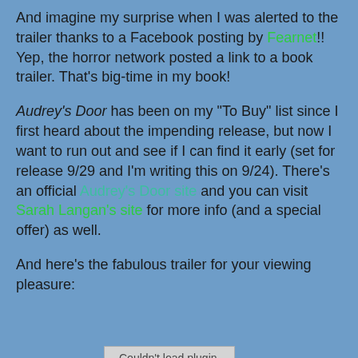And imagine my surprise when I was alerted to the trailer thanks to a Facebook posting by Fearnet!! Yep, the horror network posted a link to a book trailer. That's big-time in my book!
Audrey's Door has been on my "To Buy" list since I first heard about the impending release, but now I want to run out and see if I can find it early (set for release 9/29 and I'm writing this on 9/24). There's an official Audrey's Door site and you can visit Sarah Langan's site for more info (and a special offer) as well.
And here's the fabulous trailer for your viewing pleasure:
[Figure (other): Embedded plugin/video area showing 'Couldn't load plugin.' message in a grey box]